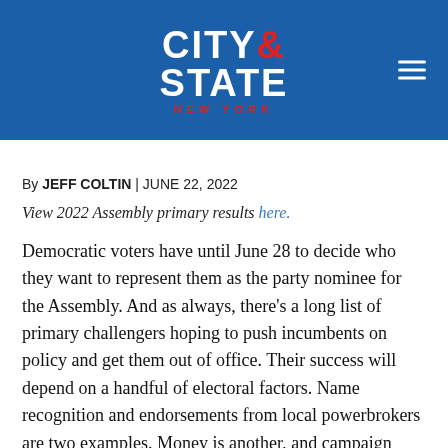CITY & STATE NEW YORK
By JEFF COLTIN | JUNE 22, 2022
View 2022 Assembly primary results here.
Democratic voters have until June 28 to decide who they want to represent them as the party nominee for the Assembly. And as always, there's a long list of primary challengers hoping to push incumbents on policy and get them out of office. Their success will depend on a handful of electoral factors. Name recognition and endorsements from local powerbrokers are two examples. Money is another, and campaign filings released at the end of May reveal more than just which candidates have the